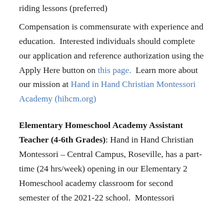riding lessons (preferred)
Compensation is commensurate with experience and education. Interested individuals should complete our application and reference authorization using the Apply Here button on this page. Learn more about our mission at Hand in Hand Christian Montessori Academy (hihcm.org)
Elementary Homeschool Academy Assistant Teacher (4-6th Grades): Hand in Hand Christian Montessori – Central Campus, Roseville, has a part-time (24 hrs/week) opening in our Elementary 2 Homeschool academy classroom for second semester of the 2021-22 school. Montessori